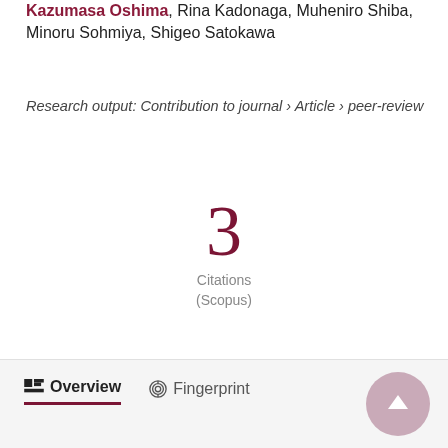Kazumasa Oshima, Rina Kadonaga, Muheniro Shiba, Minoru Sohmiya, Shigeo Satokawa
Research output: Contribution to journal › Article › peer-review
3
Citations
(Scopus)
Overview   Fingerprint